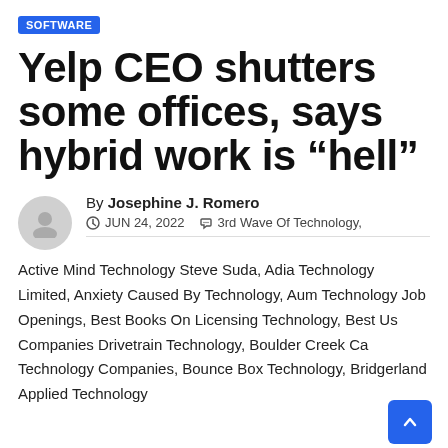SOFTWARE
Yelp CEO shutters some offices, says hybrid work is “hell”
By Josephine J. Romero
JUN 24, 2022  3rd Wave Of Technology, Active Mind Technology Steve Suda, Adia Technology Limited, Anxiety Caused By Technology, Aum Technology Job Openings, Best Books On Licensing Technology, Best Us Companies Drivetrain Technology, Boulder Creek Ca Technology Companies, Bounce Box Technology, Bridgerland Applied Technology